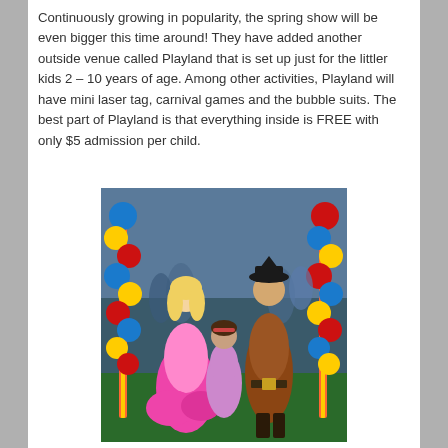Continuously growing in popularity, the spring show will be even bigger this time around! They have added another outside venue called Playland that is set up just for the littler kids 2 – 10 years of age. Among other activities, Playland will have mini laser tag, carnival games and the bubble suits. The best part of Playland is that everything inside is FREE with only $5 admission per child.
[Figure (photo): A person dressed as a princess in a pink gown and a person dressed as a pirate in a brown costume pose with a young girl in front of colorful balloon columns (blue, yellow, red) at what appears to be an indoor carnival or spring show event.]